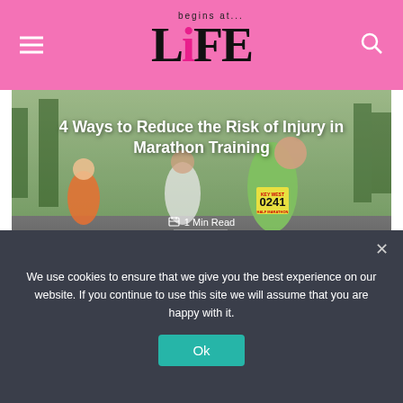Life Begins At — navigation header with hamburger menu and search icon
[Figure (photo): Marathon runners on a road in a park setting; foreground runner wears green shirt and race bib number 0241]
4 Ways to Reduce the Risk of Injury in Marathon Training
1 Min Read
About the author
VIEW ALL POSTS
We use cookies to ensure that we give you the best experience on our website. If you continue to use this site we will assume that you are happy with it.